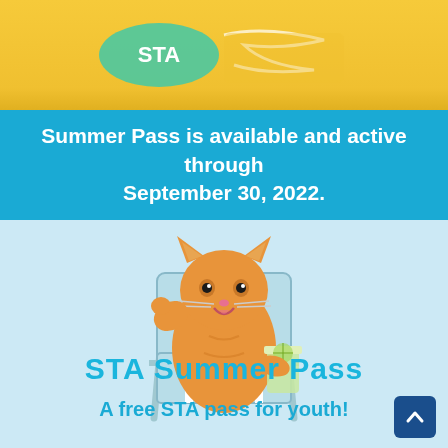[Figure (logo): STA logo partially visible at top in yellow banner]
Summer Pass is available and active through September 30, 2022.
[Figure (photo): A happy orange cat sitting in a beach chair holding a lime drink with paw raised]
STA Summer Pass
A free STA pass for youth!